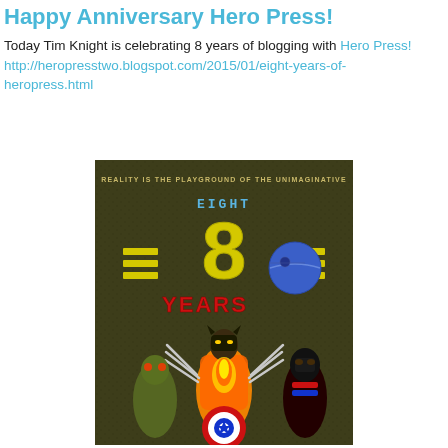Happy Anniversary Hero Press!
Today Tim Knight is celebrating 8 years of blogging with Hero Press!
http://heropresstwo.blogspot.com/2015/01/eight-years-of-heropress.html
[Figure (illustration): Anniversary poster for Hero Press showing Marvel/Star Wars characters (Wolverine, Captain America, Darth Vader, etc.) with large yellow '8' and text 'EIGHT YEARS' and tagline 'REALITY IS THE PLAYGROUND OF THE UNIMAGINATIVE' on a dark olive/green textured background.]